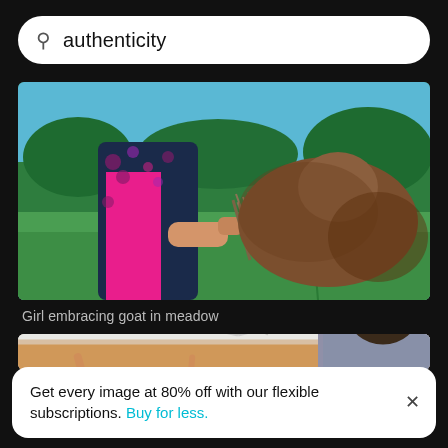authenticity
[Figure (photo): Girl in floral jacket embracing a goat in a green meadow, holding grass, outdoor rural scene with trees in background]
Girl embracing goat in meadow
[Figure (photo): DJ or performer with headphones at an outdoor music event under a tent canopy, crowd with raised hands visible in warm sunlight]
Get every image at 80% off with our flexible subscriptions. Buy for less.